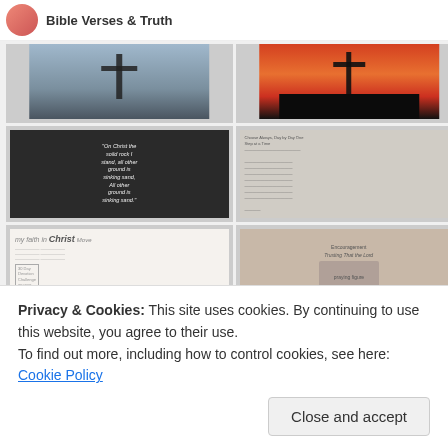Bible Verses & Truth
[Figure (photo): Cross against cloudy sky]
[Figure (photo): Cross silhouette against red/orange sunset sky over city]
[Figure (illustration): Dark background with cursive quote text about solid rock and sinking sand]
[Figure (illustration): Gray textured background with a list of Bible verses/text]
[Figure (illustration): My faith in Christ - text and columns with devotion content]
[Figure (illustration): 30 Day devotion challenge on your identity in Christ]
[Figure (photo): Pray for America - flag background]
[Figure (illustration): I Prayer for Teachers: 12 Verses of Encouragement]
[Figure (photo): Bottom left partial image]
[Figure (illustration): Bottom right partial image]
Privacy & Cookies: This site uses cookies. By continuing to use this website, you agree to their use.
To find out more, including how to control cookies, see here: Cookie Policy
Close and accept